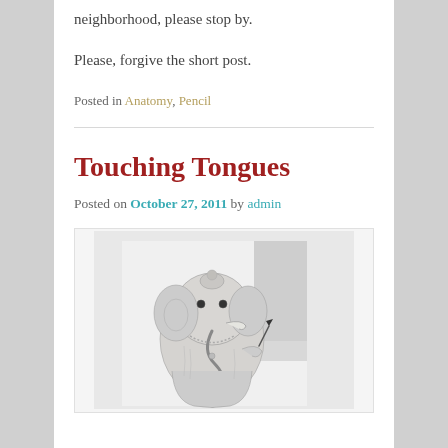neighborhood, please stop by.
Please, forgive the short post.
Posted in Anatomy, Pencil
Touching Tongues
Posted on October 27, 2011 by admin
[Figure (illustration): Pencil drawing of Ganesha (elephant-headed deity) holding a pen, appearing to write with its trunk/tongue, rendered in grayscale pencil on white paper with a light gray background rectangle behind the figure.]